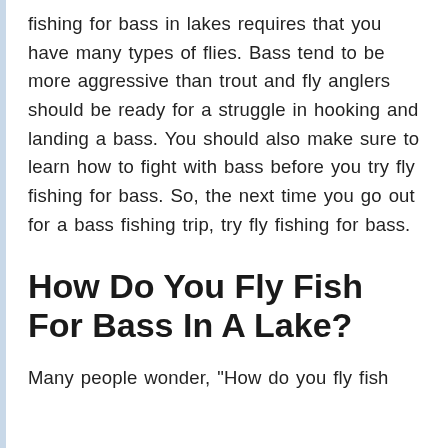fishing for bass in lakes requires that you have many types of flies. Bass tend to be more aggressive than trout and fly anglers should be ready for a struggle in hooking and landing a bass. You should also make sure to learn how to fight with bass before you try fly fishing for bass. So, the next time you go out for a bass fishing trip, try fly fishing for bass.
How Do You Fly Fish For Bass In A Lake?
Many people wonder, "How do you fly fish